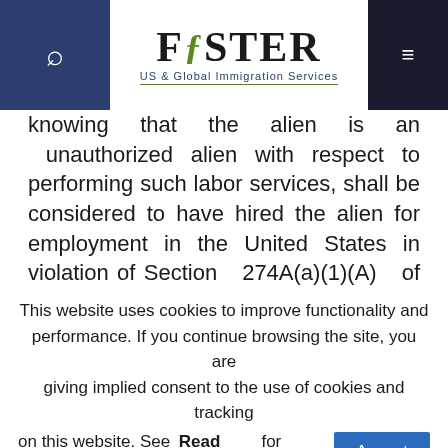Foster US & Global Immigration Services
knowing that the alien is an unauthorized alien with respect to performing such labor services, shall be considered to have hired the alien for employment in the United States in violation of Section 274A(a)(1)(A) of the Act. See https://www.ecfr.gov/cgi-bin/text-idx?tpl=/ecfrbrowse/Title08/8tab_02.tpl#0-0-0-18297.
What does “knowing” mean?
This website uses cookies to improve functionality and performance. If you continue browsing the site, you are giving implied consent to the use of cookies and tracking on this website. See our Read More for details.